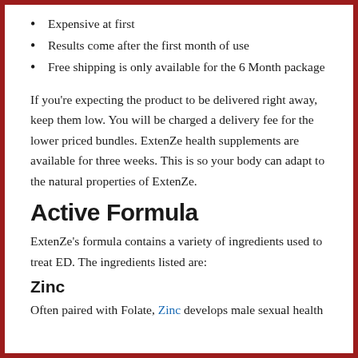Expensive at first
Results come after the first month of use
Free shipping is only available for the 6 Month package
If you're expecting the product to be delivered right away, keep them low. You will be charged a delivery fee for the lower priced bundles. ExtenZe health supplements are available for three weeks. This is so your body can adapt to the natural properties of ExtenZe.
Active Formula
ExtenZe's formula contains a variety of ingredients used to treat ED. The ingredients listed are:
Zinc
Often paired with Folate, Zinc develops male sexual health